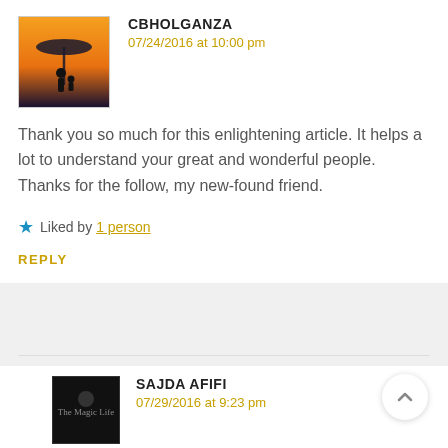[Figure (photo): Avatar image of user cbholganza: silhouette of a person under an umbrella at sunset with warm orange sky]
CBHOLGANZA
07/24/2016 at 10:00 pm
Thank you so much for this enlightening article. It helps a lot to understand your great and wonderful people. Thanks for the follow, my new-found friend.
★ Liked by 1 person
REPLY
[Figure (photo): Avatar image of user Sajda Afifi: dark square logo with text]
SAJDA AFIFI
07/29/2016 at 9:23 pm
Thank you too. I am happy to